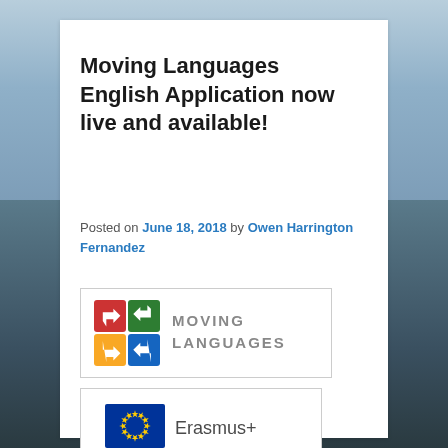Moving Languages English Application now live and available!
Posted on June 18, 2018 by Owen Harrington Fernandez
[Figure (logo): Moving Languages logo — colorful arrow icons with MOVING LANGUAGES text]
[Figure (logo): Erasmus+ logo — EU flag circle of stars with Erasmus+ text]